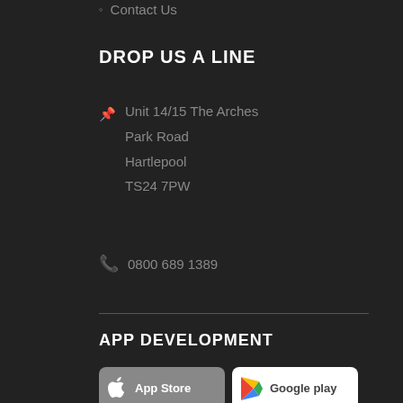Contact Us
DROP US A LINE
Unit 14/15 The Arches
Park Road
Hartlepool
TS24 7PW
0800 689 1389
APP DEVELOPMENT
[Figure (logo): App Store button - grey rounded rectangle with Apple logo and text 'App Store']
[Figure (logo): Google Play button - white rounded rectangle with Google Play triangle logo and text 'Google play']
[Figure (logo): Windows Store button - white rounded rectangle with Windows logo and text 'Windows Store']
[Figure (logo): Xbox Store button - white rounded rectangle with Xbox logo and text 'Xbox Store' and tagline 'EPIC GAMES  GREAT DEALS  NO LIMS']
[Figure (logo): Amazon Appstore button - white rounded rectangle with amazon logo and orange 'appstore' text]